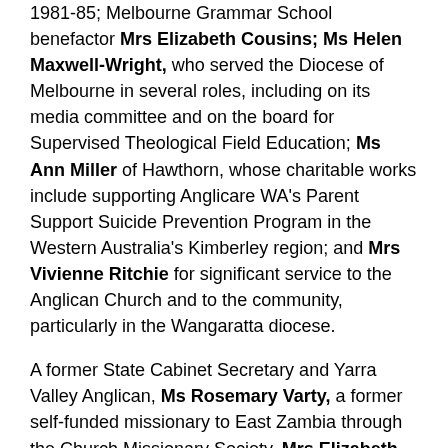1981-85; Melbourne Grammar School benefactor Mrs Elizabeth Cousins; Ms Helen Maxwell-Wright, who served the Diocese of Melbourne in several roles, including on its media committee and on the board for Supervised Theological Field Education; Ms Ann Miller of Hawthorn, whose charitable works include supporting Anglicare WA's Parent Support Suicide Prevention Program in the Western Australia's Kimberley region; and Mrs Vivienne Ritchie for significant service to the Anglican Church and to the community, particularly in the Wangaratta diocese.
A former State Cabinet Secretary and Yarra Valley Anglican, Ms Rosemary Varty, a former self-funded missionary to East Zambia through the Church Missionary Society, Mrs Elizabeth Hawthorne, and the CEO of Relationship Matters Counselling and Mediation (established by the Melbourne diocese more than 70 years ago to provide marriage